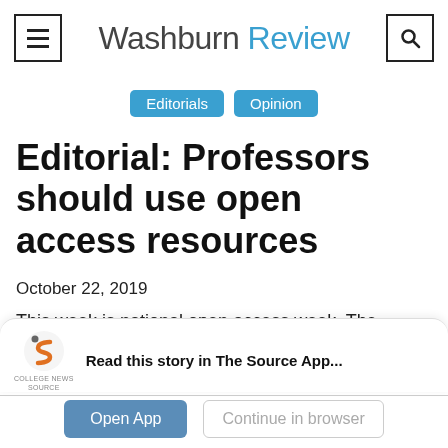Washburn Review
Editorials   Opinion
Editorial: Professors should use open access resources
October 22, 2019
This week is national open access week. The
Read this story in The Source App...
Open App   Continue in browser